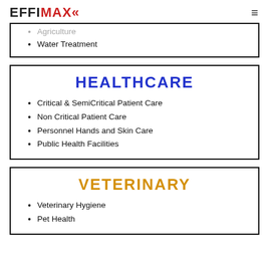EFFIMAX (logo) with hamburger menu
Agriculture (partial, truncated at top)
Water Treatment
HEALTHCARE
Critical & SemiCritical Patient Care
Non Critical Patient Care
Personnel Hands and Skin Care
Public Health Facilities
VETERINARY
Veterinary Hygiene
Pet Health